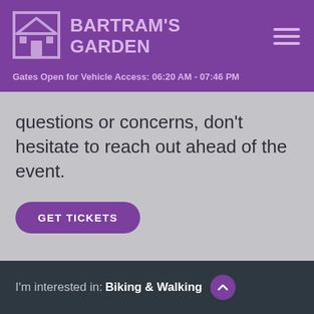BARTRAM'S GARDEN
Gates Open for Vehicle Access: 06:20 AM - 07:46 PM
questions or concerns, don't hesitate to reach out ahead of the event.
GET TICKETS
Add to calendar
I'm interested in:  Biking & Walking